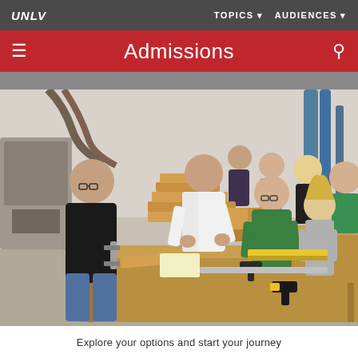UNLV   TOPICS  AUDIENCES
Admissions
[Figure (photo): Students and an instructor working together in a wood workshop, constructing a structure from wooden boards on a large workbench. Multiple students visible in background working at tables.]
Text partially visible at bottom (cut off)